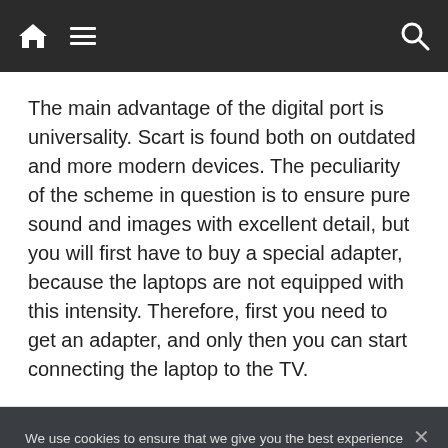[Navigation bar with home, menu, and search icons]
The main advantage of the digital port is universality. Scart is found both on outdated and more modern devices. The peculiarity of the scheme in question is to ensure pure sound and images with excellent detail, but you will first have to buy a special adapter, because the laptops are not equipped with this intensity. Therefore, first you need to get an adapter, and only then you can start connecting the laptop to the TV.
We use cookies to ensure that we give you the best experience on our website. If you continue to use this site we will assume that you are happy with it.